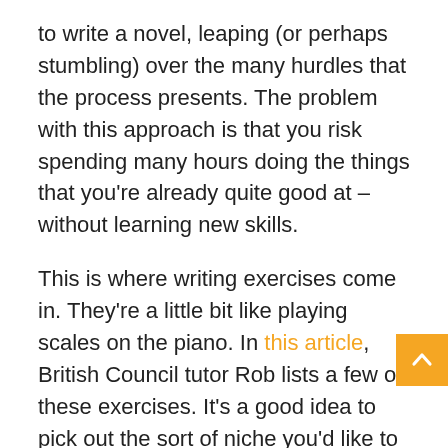to write a novel, leaping (or perhaps stumbling) over the many hurdles that the process presents. The problem with this approach is that you risk spending many hours doing the things that you're already quite good at – without learning new skills.
This is where writing exercises come in. They're a little bit like playing scales on the piano. In this article, British Council tutor Rob lists a few of these exercises. It's a good idea to pick out the sort of niche you'd like to focus on. As well as traditional writing exercises, modern writers have access to an array of digital tools which can ease the process.
Writing tips
It's fair to say that the modern internet is saturated with writing tips. Cut out all the adverbs, you might hear someone say. Similarly: active voice is better than passive voice, short